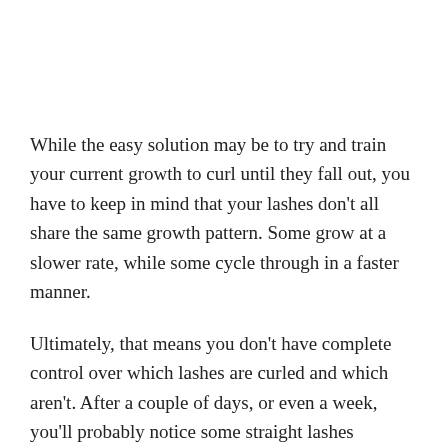While the easy solution may be to try and train your current growth to curl until they fall out, you have to keep in mind that your lashes don't all share the same growth pattern. Some grow at a slower rate, while some cycle through in a faster manner.
Ultimately, that means you don't have complete control over which lashes are curled and which aren't. After a couple of days, or even a week, you'll probably notice some straight lashes amongst your trained ones.